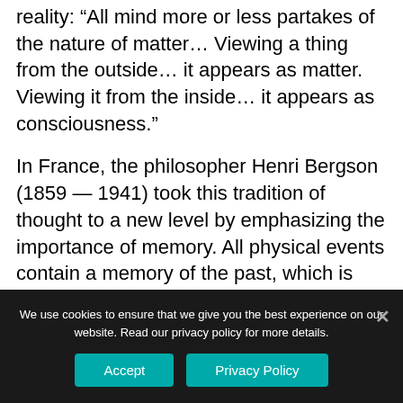reality: “All mind more or less partakes of the nature of matter… Viewing a thing from the outside… it appears as matter. Viewing it from the inside… it appears as consciousness.”
In France, the philosopher Henri Bergson (1859 — 1941) took this tradition of thought to a new level by emphasizing the importance of memory. All physical events contain a memory of the past, which is what enables them to endure. The unconscious matter of mechanistic physics was assumed by Bergson’s contemporaries to persist unchanged until acted on by external forces; matter lived in an eternal instant, and had no time within it.
We use cookies to ensure that we give you the best experience on our website. Read our privacy policy for more details.